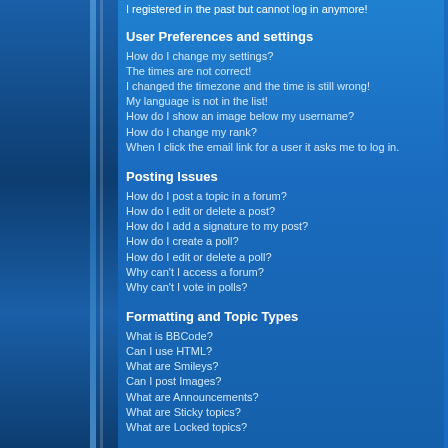I registered in the past but cannot log in anymore!
User Preferences and settings
How do I change my settings?
The times are not correct!
I changed the timezone and the time is still wrong!
My language is not in the list!
How do I show an image below my username?
How do I change my rank?
When I click the email link for a user it asks me to log in.
Posting Issues
How do I post a topic in a forum?
How do I edit or delete a post?
How do I add a signature to my post?
How do I create a poll?
How do I edit or delete a poll?
Why can't I access a forum?
Why can't I vote in polls?
Formatting and Topic Types
What is BBCode?
Can I use HTML?
What are Smileys?
Can I post Images?
What are Announcements?
What are Sticky topics?
What are Locked topics?
User Levels and Groups
What are Administrators?
What are Moderators?
What are Usergroups?
How do I join a Usergroup?
How do I become a Usergroup Moderator?
Private Messaging